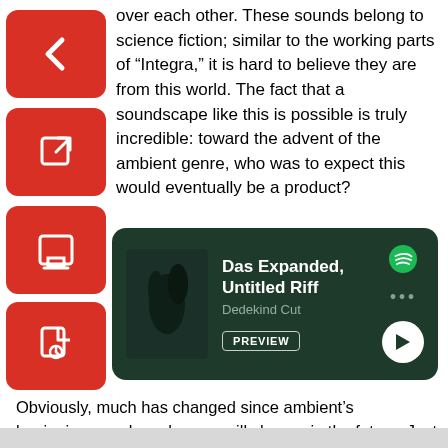over each other. These sounds belong to science fiction; similar to the working parts of “Integra,” it is hard to believe they are from this world. The fact that a soundscape like this is possible is truly incredible: toward the advent of the ambient genre, who was to expect this would eventually be a product?
[Figure (other): Spotify music player embed card with dark green background showing track 'Das Expanded, Untitled Riff' by Dedekind Cut, with album art, preview button, dots menu, and play button]
Obviously, much has changed since ambient’s beginnings, and much more will change in the future. Just as Black artists like King Tubby and Laraaji left their mark on the genre, KMRU, Klein, Ibukun Sunday and Dedekind Cut have and will continue to leave theirs. In a genre that has typically been viewed as overwhelmingly white, these artists are making their voices heard and inspiring new voices to rise. The great canvas that is ambient has much more space to fill in the near future: Those spaces are certainly in good hands.